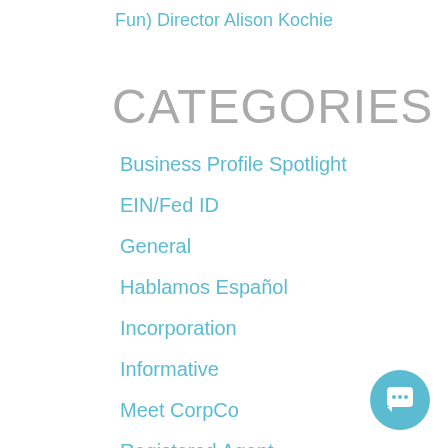Fun) Director Alison Kochie
CATEGORIES
Business Profile Spotlight
EIN/Fed ID
General
Hablamos Español
Incorporation
Informative
Meet CorpCo
Registered Agent
Uncategorized